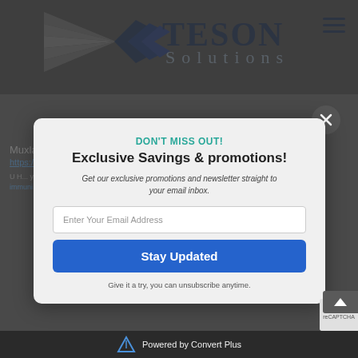[Figure (logo): Teson Solutions logo with geometric arrow/fan design on left and 'TESON Solutions' text in dark navy blue]
Muxlab
https://www...
DON'T MISS OUT!
Exclusive Savings & promotions!
Get our exclusive promotions and newsletter straight to your email inbox.
Enter Your Email Address
Stay Updated
Give it a try, you can unsubscribe anytime.
Powered by Convert Plus